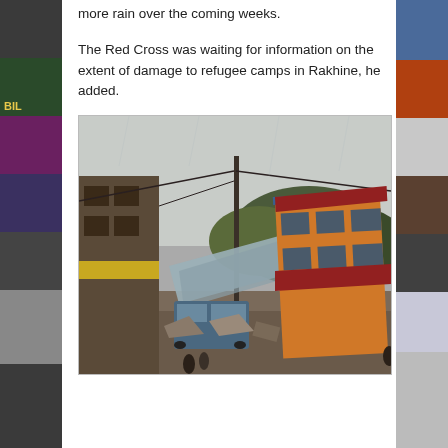more rain over the coming weeks.
The Red Cross was waiting for information on the extent of damage to refugee camps in Rakhine, he added.
[Figure (photo): Street scene showing storm/landslide damage with collapsed and tilted buildings, debris, vehicles, and utility poles in a hilly urban area during overcast/rainy weather.]